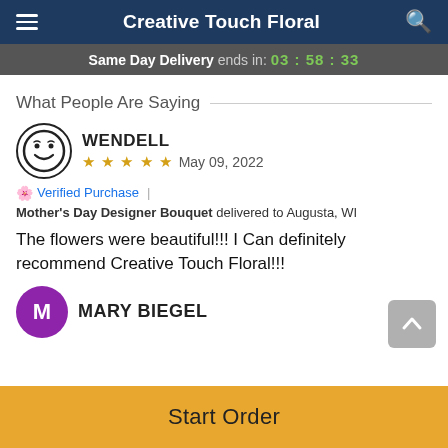Creative Touch Floral
Same Day Delivery ends in: 03:58:33
What People Are Saying
WENDELL — ★★★★★ May 09, 2022
🌸 Verified Purchase | Mother's Day Designer Bouquet delivered to Augusta, WI
The flowers were beautiful!!! I Can definitely recommend Creative Touch Floral!!!
MARY BIEGEL
Start Order